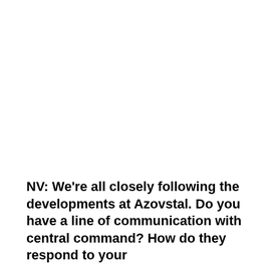NV: We're all closely following the developments at Azovstal. Do you have a line of communication with central command? How do they respond to your